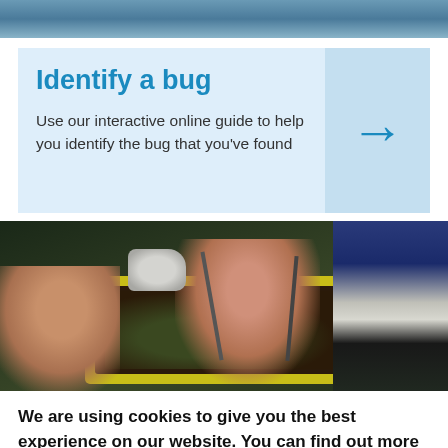[Figure (photo): Top portion of a person outdoors, partially cropped at top of page]
Identify a bug
Use our interactive online guide to help you identify the bug that you've found
[Figure (photo): People using tools to examine soil and plant matter in a yellow tray outdoors]
We are using cookies to give you the best experience on our website. You can find out more about which cookies we are using or switch them off in settings.
Accept
Reject